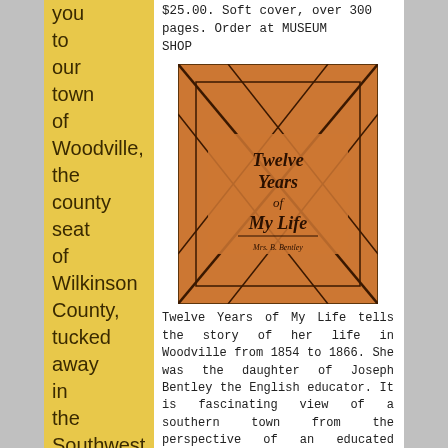you to our town of Woodville, the county seat of Wilkinson County, tucked away in the Southwest corner of Mississippi near the river
$25.00. Soft cover, over 300 pages. Order at MUSEUM SHOP
[Figure (photo): Photo of a book cover titled 'Twelve Years of My Life' by Mrs. B. Bentley. Orange/tan cover with black diagonal line decorations forming a diamond pattern.]
Twelve Years of My Life tells the story of her life in Woodville from 1854 to 1866. She was the daughter of Joseph Bentley the English educator. It is fascinating view of a southern town from the perspective of an educated businesswoman and mother during tumultuous times. Her